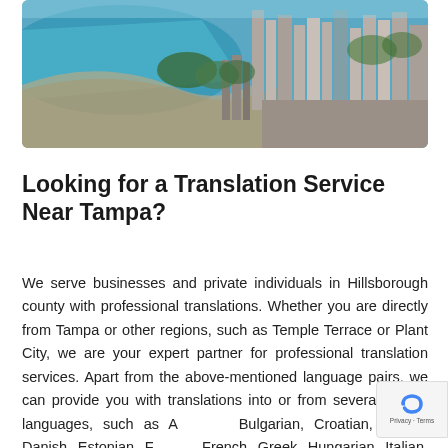[Figure (photo): Aerial photograph of Tampa/waterfront cityscape showing buildings, bay water, and urban development with lush greenery]
Looking for a Translation Service Near Tampa?
We serve businesses and private individuals in Hillsborough county with professional translations. Whether you are directly from Tampa or other regions, such as Temple Terrace or Plant City, we are your expert partner for professional translation services. Apart from the above-mentioned language pairs, we can provide you with translations into or from several further languages, such as Albanian, Bulgarian, Croatian, Czech, Danish, Estonian, Finnish, French, Greek, Hungarian, Italian, Norwegian, Polish,